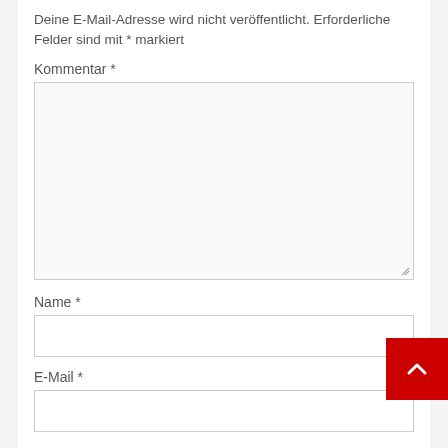Deine E-Mail-Adresse wird nicht veröffentlicht. Erforderliche Felder sind mit * markiert
Kommentar *
[Figure (other): Large textarea input field for comment entry]
Name *
[Figure (other): Single-line text input field for name]
E-Mail *
[Figure (other): Single-line text input field for email]
[Figure (other): Red back-to-top button with upward arrow chevron]